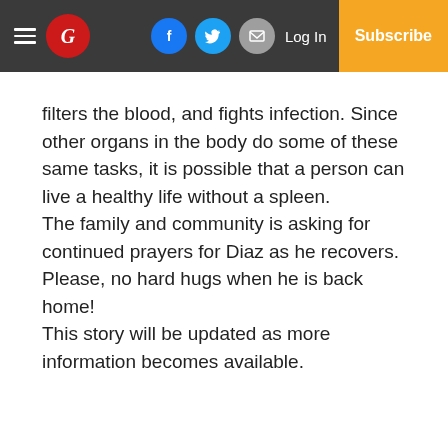The Guardian — Log In | Subscribe
filters the blood, and fights infection. Since other organs in the body do some of these same tasks, it is possible that a person can live a healthy life without a spleen.
The family and community is asking for continued prayers for Diaz as he recovers. Please, no hard hugs when he is back home!
This story will be updated as more information becomes available.